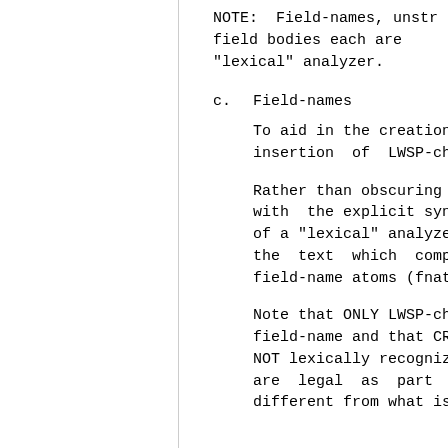NOTE:  Field-names, unstructured field bodies each are passed to a "lexical" analyzer.
c.  Field-names
To aid in the creation and insertion of LWSP-chars
Rather than obscuring the with the explicit syntax of a "lexical" analyzer and the text which comprises field-name atoms (fnatoms
Note that ONLY LWSP-chars field-name and that CRLFs NOT lexically recognized, are legal as part of different from what is pe